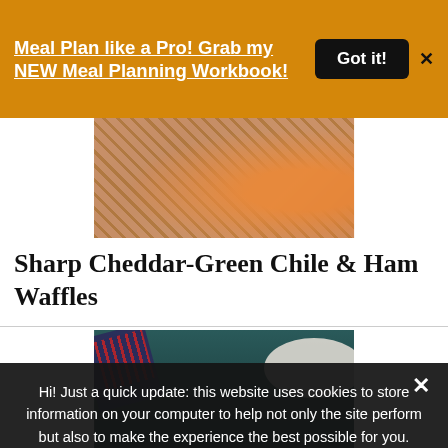Meal Plan like a Pro! Grab my NEW Meal Planning Workbook!
[Figure (photo): Top-down photo of waffles with an orange/tangerine visible, warm tones]
Sharp Cheddar-Green Chile & Ham Waffles
[Figure (photo): Dark moody overhead photo of a plated dish on a dark surface with a patterned cloth]
Hi! Just a quick update: this website uses cookies to store information on your computer to help not only the site perform but also to make the experience the best possible for you.
› Privacy Preferences
I Agree